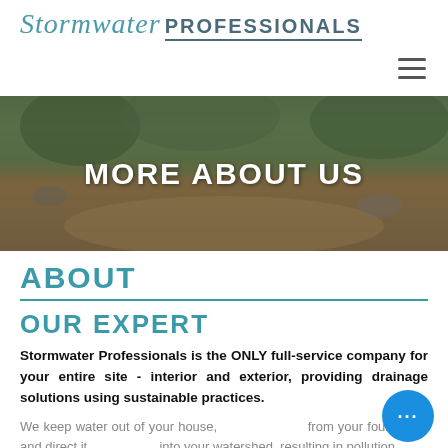Stormwater PROFESSIONALS
[Figure (screenshot): Three horizontal lines forming a hamburger/navigation menu icon]
[Figure (photo): Hero banner image showing an outdoor landscaped area with vegetation and pathways, overlaid with bold white text reading MORE ABOUT US]
ABOUT
OUR EXPERT
Stormwater Professionals is the ONLY full-service company for your entire site - interior and exterior, providing drainage solutions using sustainable practices.
We keep water out of your house, from your foundation and direct it into your watershed, resulting in pollution